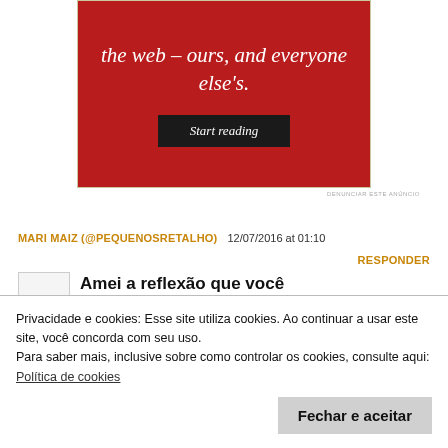[Figure (other): Red advertisement banner with italic white text 'the web – ours, and everyone else's.' and a dark 'Start reading' button]
DENUNCIAR ESTE ANÚNCIO
MARI MAIZ (@PEQUENOSRETALHO)   12/07/2016 at 01:10
RESPONDER
Amei a reflexão que você
Privacidade e cookies: Esse site utiliza cookies. Ao continuar a usar este site, você concorda com seu uso.
Para saber mais, inclusive sobre como controlar os cookies, consulte aqui: Política de cookies
Fechar e aceitar